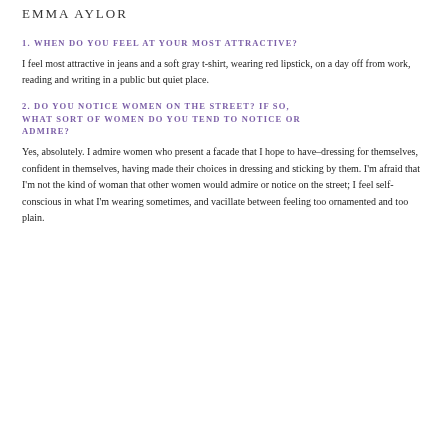EMMA AYLOR
1. WHEN DO YOU FEEL AT YOUR MOST ATTRACTIVE?
I feel most attractive in jeans and a soft gray t-shirt, wearing red lipstick, on a day off from work, reading and writing in a public but quiet place.
2. DO YOU NOTICE WOMEN ON THE STREET? IF SO, WHAT SORT OF WOMEN DO YOU TEND TO NOTICE OR ADMIRE?
Yes, absolutely. I admire women who present a facade that I hope to have–dressing for themselves, confident in themselves, having made their choices in dressing and sticking by them. I'm afraid that I'm not the kind of woman that other women would admire or notice on the street; I feel self-conscious in what I'm wearing sometimes, and vacillate between feeling too ornamented and too plain.